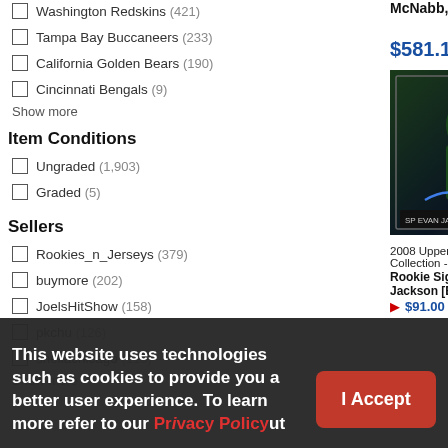Washington Redskins (421)
Tampa Bay Buccaneers (233)
California Golden Bears (190)
Cincinnati Bengals (9)
Show more
Item Conditions
Ungraded (1,903)
Graded (5)
Sellers
Rookies_n_Jerseys (379)
buymore (202)
JoelsHitShow (158)
pkchu (126)
sheliachicago (116)
Show more
McNabb, Tom Brad
$581.10
[Figure (photo): Trading card image of a football player in Eagles uniform, signed, graded in case]
2008 Upper Deck Collection - [Base
Rookie Signature P Jackson [BGS Auth
$91.00
This website uses technologies such as cookies to provide you a better user experience. To learn more refer to our Privacy Policy